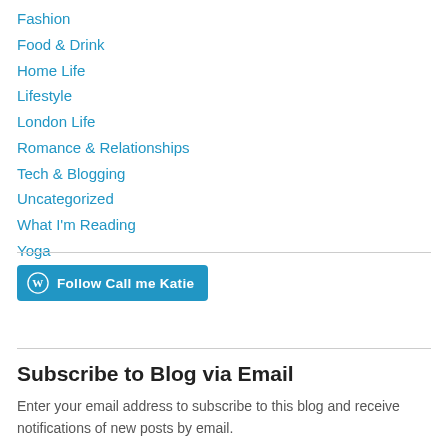Fashion
Food & Drink
Home Life
Lifestyle
London Life
Romance & Relationships
Tech & Blogging
Uncategorized
What I'm Reading
Yoga
[Figure (other): WordPress Follow button labeled 'Follow Call me Katie' with WordPress logo on blue background]
Subscribe to Blog via Email
Enter your email address to subscribe to this blog and receive notifications of new posts by email.